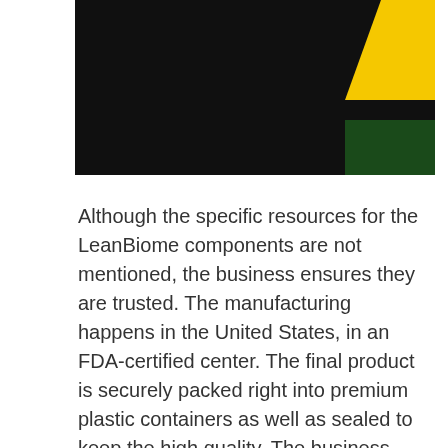[Figure (photo): Dark photograph with yellow triangular shape and dark green bar in the upper right corner, mostly dark/black background]
Although the specific resources for the LeanBiome components are not mentioned, the business ensures they are trusted. The manufacturing happens in the United States, in an FDA-certified center. The final product is securely packed right into premium plastic containers as well as sealed to keep the high quality. The business also specifies that it examines every set via a third-party screening center to prevent the risk of contamination.